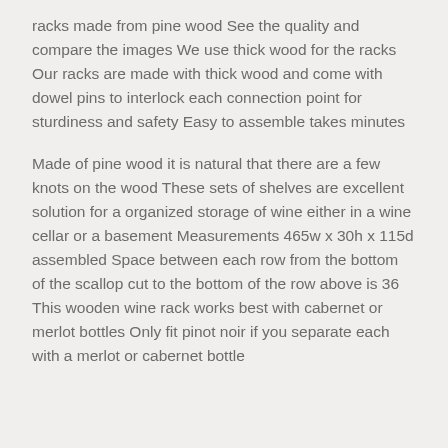racks made from pine wood See the quality and compare the images We use thick wood for the racks Our racks are made with thick wood and come with dowel pins to interlock each connection point for sturdiness and safety Easy to assemble takes minutes
Made of pine wood it is natural that there are a few knots on the wood These sets of shelves are excellent solution for a organized storage of wine either in a wine cellar or a basement Measurements 465w x 30h x 115d assembled Space between each row from the bottom of the scallop cut to the bottom of the row above is 36 This wooden wine rack works best with cabernet or merlot bottles Only fit pinot noir if you separate each with a merlot or cabernet bottle